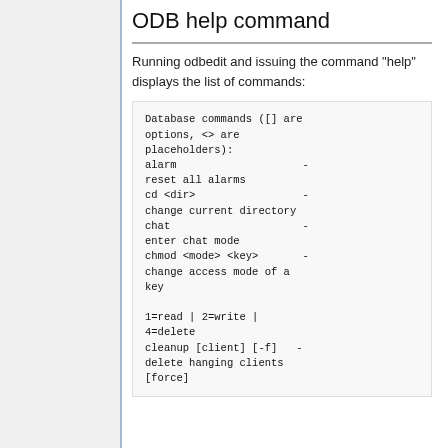ODB help command
Running odbedit and issuing the command "help" displays the list of commands:
Database commands ([] are options, <> are placeholders):
alarm                    - reset all alarms
cd <dir>                 - change current directory
chat                     - enter chat mode
chmod <mode> <key>       - change access mode of a key

1=read | 2=write | 4=delete
cleanup [client] [-f]   - delete hanging clients
[force]